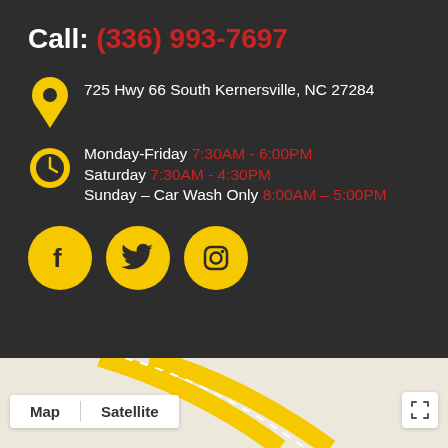Call: (336) 993-7697
725 Hwy 66 South Kernersville, NC 27284
Monday-Friday 7:30AM - 6:00PM Saturday 7:30AM - 4:30PM Sunday – Car Wash Only 8:00AM – 5:00PM
[Figure (infographic): Social media icons: Facebook, Twitter, Instagram — yellow circles with white icons]
[Figure (map): Google Maps embed showing road map with Map/Satellite tabs and fullscreen button]